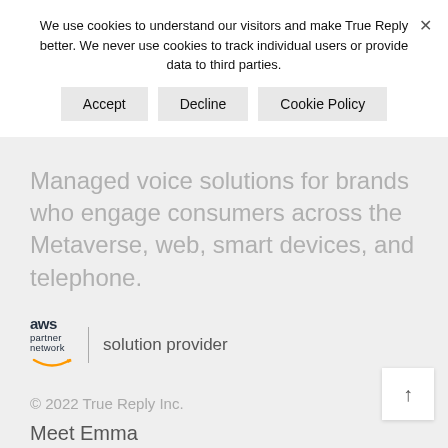We use cookies to understand our visitors and make True Reply better. We never use cookies to track individual users or provide data to third parties.
Accept | Decline | Cookie Policy
Managed voice solutions for brands who engage consumers across the Metaverse, web, smart devices, and telephone.
[Figure (logo): AWS partner network solution provider logo]
© 2022 True Reply Inc.
Meet Emma
Pricing